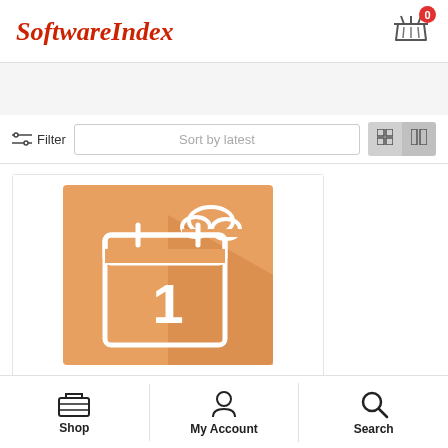SoftwareIndex
[Figure (illustration): Shopping cart icon with badge showing 0]
[Figure (illustration): Filter icon with sliders]
Filter
Sort by latest
[Figure (illustration): Grid view and list view toggle buttons]
[Figure (illustration): Orange calendar app icon with cloud, showing number 1, for scheduling software]
Office
Virto Workflow Scheduler for Office 365
Shop
My Account
Search